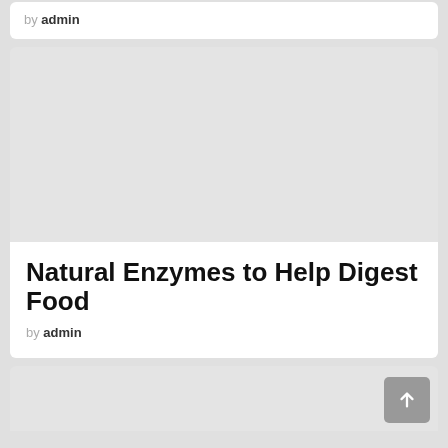by admin
[Figure (photo): Gray placeholder image block for an article]
Natural Enzymes to Help Digest Food
by admin
[Figure (photo): Gray placeholder image block at bottom of page with scroll-to-top button]